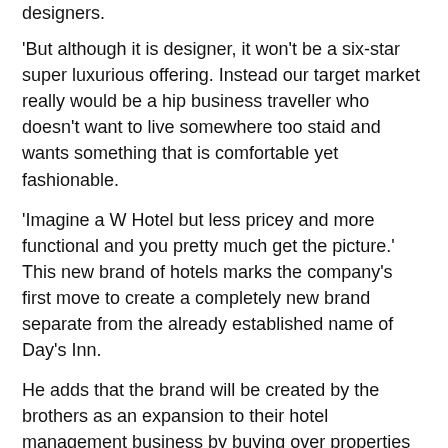designers.
'But although it is designer, it won't be a six-star super luxurious offering. Instead our target market really would be a hip business traveller who doesn't want to live somewhere too staid and wants something that is comfortable yet fashionable.
'Imagine a W Hotel but less pricey and more functional and you pretty much get the picture.' This new brand of hotels marks the company's first move to create a completely new brand separate from the already established name of Day's Inn.
He adds that the brand will be created by the brothers as an expansion to their hotel management business by buying over properties to gain more control over the hotels.
Through Tera Capital - an investment management company started and run by Mr Fang, the brothers are also looking to lease or purchase existing properties/projects in China.
Previous Day's Inn projects were franchise/ma nagement deals between Frontier and developers/owners in China